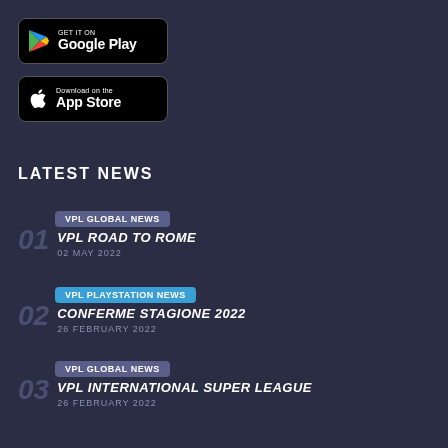[Figure (logo): GET IT ON Google Play store badge, black background with Google Play logo]
[Figure (logo): Download on the App Store badge, black background with Apple logo]
LATEST NEWS
vPL gLoBal news
01 VPL ROAD TO ROME 02 MAY 2022
vPL Playstation news
02 CONFERME STAGIONE 2022 26 FEBRUARY 2022
vPL gLoBal news
03 VPL INTERNATIONAL SUPER LEAGUE 26 FEBRUARY 2022